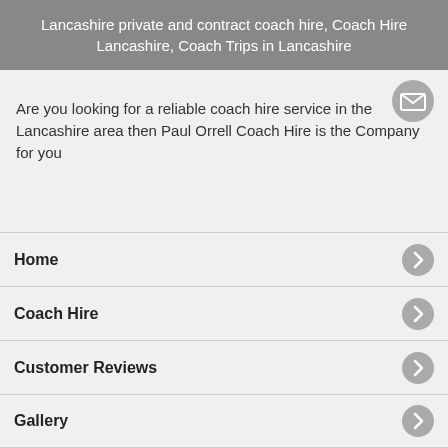Lancashire private and contract coach hire, Coach Hire Lancashire, Coach Trips in Lancashire
[Figure (illustration): Circular email/envelope icon, gray background with white envelope symbol]
Are you looking for a reliable coach hire service in the Lancashire area then Paul Orrell Coach Hire is the Company for you
Home
Coach Hire
Customer Reviews
Gallery